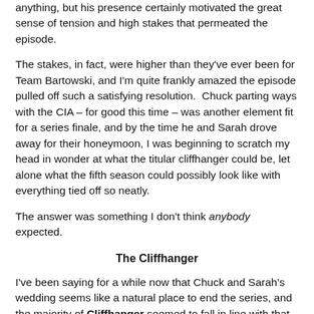anything, but his presence certainly motivated the great sense of tension and high stakes that permeated the episode.
The stakes, in fact, were higher than they've ever been for Team Bartowski, and I'm quite frankly amazed the episode pulled off such a satisfying resolution.  Chuck parting ways with the CIA – for good this time – was another element fit for a series finale, and by the time he and Sarah drove away for their honeymoon, I was beginning to scratch my head in wonder at what the titular cliffhanger could be, let alone what the fifth season could possibly look like with everything tied off so neatly.
The answer was something I don't think anybody expected.
The Cliffhanger
I've been saying for a while now that Chuck and Sarah's wedding seems like a natural place to end the series, and the majority of Cliffhanger seemed to fall in line with that assessment.  I've also said that the show will certainly need